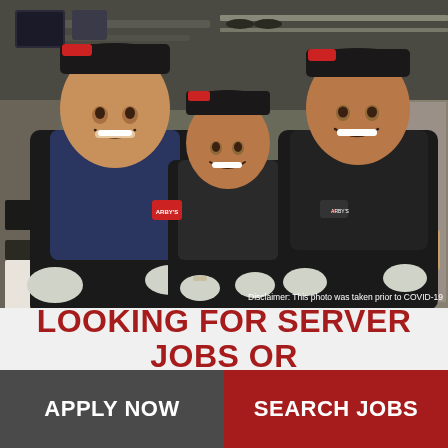[Figure (photo): Three smiling restaurant workers in black aprons and black caps standing in a commercial kitchen. The left worker wears a navy blue shirt and black apron, the middle and right workers wear black shirts and aprons. All are wearing gloves. Kitchen equipment is visible in the background. A disclaimer text reads: 'Disclaimer: This photo was taken prior to COVID-19']
LOOKING FOR SERVER JOBS OR
APPLY NOW
SEARCH JOBS